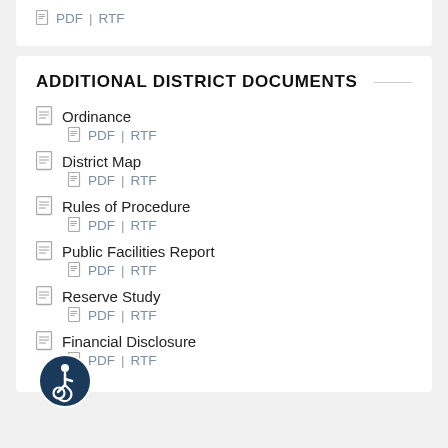PDF | RTF
ADDITIONAL DISTRICT DOCUMENTS
Ordinance
PDF | RTF
District Map
PDF | RTF
Rules of Procedure
PDF | RTF
Public Facilities Report
PDF | RTF
Reserve Study
PDF | RTF
Financial Disclosure
PDF | RTF